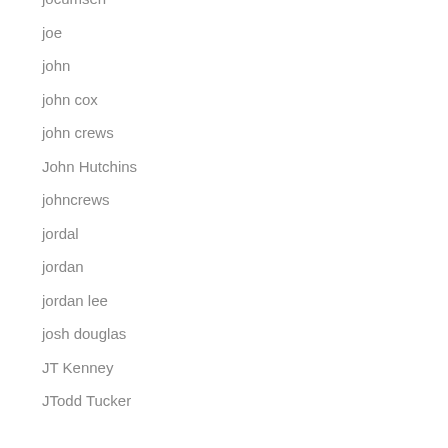jocumsen
joe
john
john cox
john crews
John Hutchins
johncrews
jordal
jordan
jordan lee
josh douglas
JT Kenney
JTodd Tucker